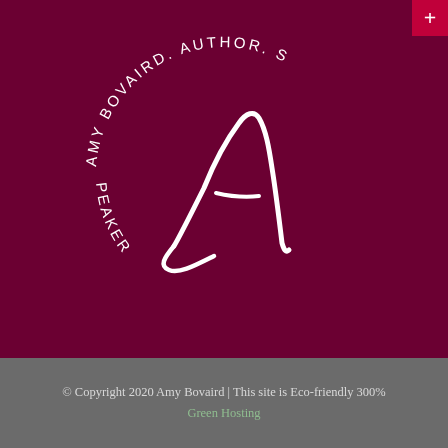[Figure (logo): Amy Bovaird circular logo with text 'AMY BOVAIRD. AUTHOR. SPEAKER.' arranged in a circle around a large stylized cursive letter A, white on dark maroon background]
© Copyright 2020 Amy Bovaird | This site is Eco-friendly 300%
Green Hosting